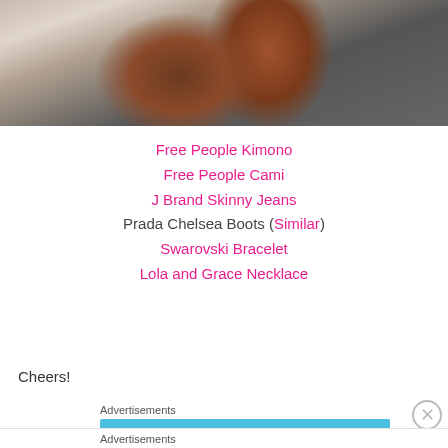[Figure (photo): Cropped photo of a woman with long red/auburn hair, wearing a dark grey top; hands visible near hair; green element visible in background.]
Free People Kimono
Free People Cami
J Brand Skinny Jeans
Prada Chelsea Boots (Similar)
Swarovski Bracelet
Lola and Grace Necklace
Cheers!
Advertisements
Advertisements
Getting your team on the same page is easy. And free.